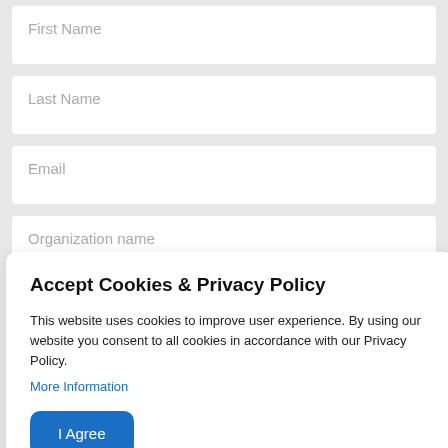First Name
Last Name
Email
Organization name
Accept Cookies & Privacy Policy
This website uses cookies to improve user experience. By using our website you consent to all cookies in accordance with our Privacy Policy.
More Information
I Agree